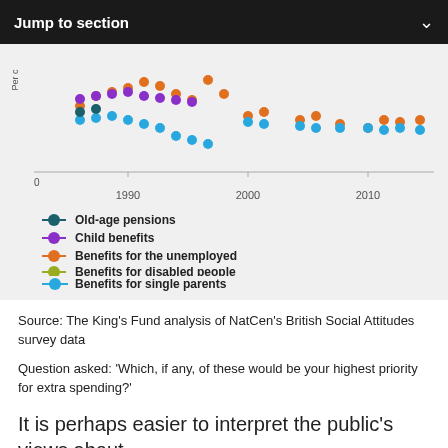Jump to section
[Figure (scatter-plot): Dot plot showing survey responses for spending priorities across benefit categories (Old-age pensions, Child benefits, Benefits for the unemployed, Benefits for disabled people, Benefits for single parents) from approximately 1985 to 2015. Legend shows five colored series.]
Source: The King's Fund analysis of NatCen's British Social Attitudes survey data
Question asked: 'Which, if any, of these would be your highest priority for extra spending?'
It is perhaps easier to interpret the public's views about